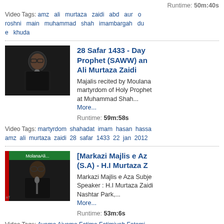Runtime: 50m:40s
Video Tags: amz ali murtaza zaidi abd aur o roshni main muhammad shah imambargah du e khuda
[Figure (photo): Thumbnail of a man in black speaking at a microphone]
28 Safar 1433 - Day Prophet (SAWW) and Ali Murtaza Zaidi
Majalis recited by Moulana martyrdom of Holy Prophet at Muhammad Shah... More...
Runtime: 59m:58s
Video Tags: martyrdom shahadat imam hasan hassa amz ali murtaza zaidi 28 safar 1433 22 jan 2012
[Figure (photo): Thumbnail of a man in black speaking at a microphone with green banner behind]
[Markazi Majlis e Aza (S.A) - H.I Murtaza Z
Markazi Majlis e Aza Subje Speaker : H.I Murtaza Zaidi Nashtar Park,... More...
Runtime: 53m:6s
Video Tags: Ayame Aiyame Fatima Fatimiyah Fatemi Syeda Sayyeda Sayda Tahira Razia Marzia BIBi Sh Molana Maolana Syed Sayed Sayyed Ali Murtaza Z